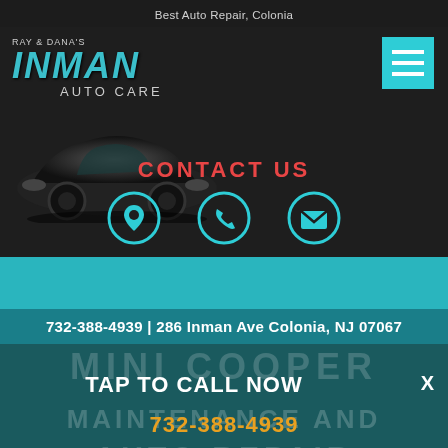Best Auto Repair, Colonia
[Figure (logo): Ray & Dana's Inman Auto Care logo with car silhouette]
[Figure (other): Hamburger menu button (teal/cyan square with three white lines)]
CONTACT US
[Figure (other): Three teal circular icons: location pin, phone, envelope]
732-388-4939 | 286 Inman Ave Colonia, NJ 07067
MINI COOPER
TAP TO CALL NOW
X
MAINTENANCE AND
732-388-4939
AUTO REPAIR